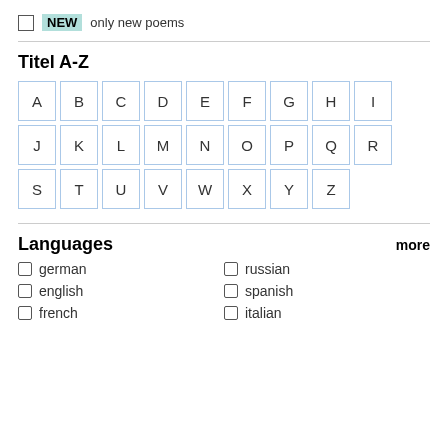NEW  only new poems
Titel A-Z
A B C D E F G H I J K L M N O P Q R S T U V W X Y Z
Languages
german
english
french
russian
spanish
italian